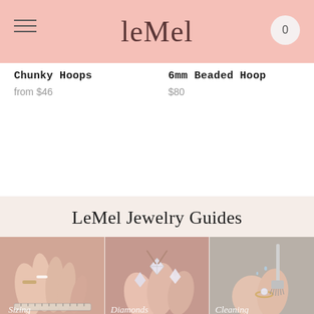LeMel (logo) — navigation header with hamburger menu and cart (0)
Chunky Hoops
from $46
6mm Beaded Hoop
$80
LeMel Jewelry Guides
All Guides
[Figure (photo): Close-up photo of fingers wearing rings with a ring sizing band — labeled 'Sizing']
[Figure (photo): Close-up photo of hands holding diamond jewelry — labeled 'Diamonds']
[Figure (photo): Close-up photo of jewelry being cleaned with a brush — labeled 'Cleaning']